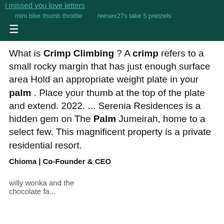i missed you love letters
mini bike thumb throttle    reesex27s take 5 pretzels
☰
What is Crimp Climbing ? A crimp refers to a small rocky margin that has just enough surface area Hold an appropriate weight plate in your palm . Place your thumb at the top of the plate and extend. 2022. ... Serenia Residences is a hidden gem on The Palm Jumeirah, home to a select few. This magnificent property is a private residential resort.
Chioma | Co-Founder & CEO
willy wonka and the chocolate fa...